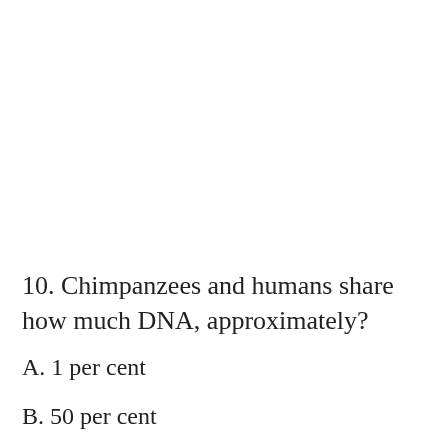10. Chimpanzees and humans share how much DNA, approximately?
A. 1 per cent
B. 50 per cent
C. 99 per cent